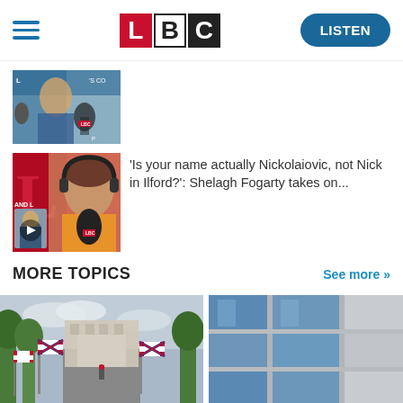LBC — LISTEN
[Figure (photo): Thumbnail image of a woman on a radio show with microphone]
[Figure (photo): Thumbnail image of Shelagh Fogarty at mic with LBC branding, and inset of man]
'Is your name actually Nickolaiovic, not Nick in Ilford?': Shelagh Fogarty takes on...
MORE TOPICS
See more >>
[Figure (photo): Street lined with Union Jack flags leading to a landmark building, under a cloudy sky]
[Figure (photo): Close-up of building facade with blue and grey glass panels]